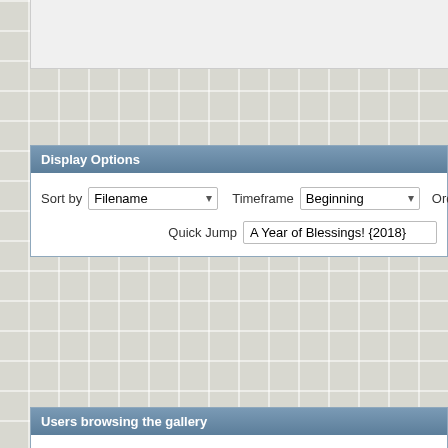Display Options
Sort by   Filename   Timeframe   Beginning   Order
Quick Jump   A Year of Blessings! {2018}
Users browsing the gallery
1 unregistered user
Photo Sharing
Copyright ©
All times are GM
Powered by
Copyright © 2022 vBulle